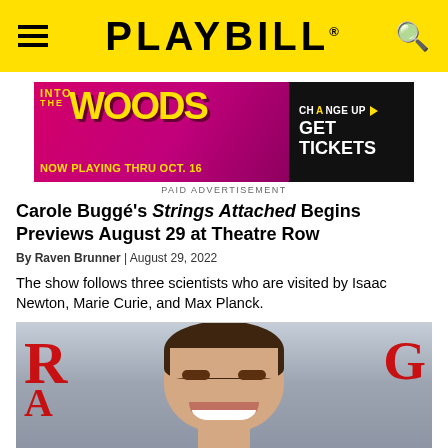PLAYBILL
[Figure (infographic): Advertisement banner for 'Into the Woods' musical. Text: INTO THE WOODS, NOW PLAYING THRU OCT. 16, CHANGE UP GET TICKETS. Pink/magenta and black background with yellow text.]
PAID ADVERTISEMENT
Carole Buggé's Strings Attached Begins Previews August 29 at Theatre Row
By Raven Brunner | August 29, 2022
The show follows three scientists who are visited by Isaac Newton, Marie Curie, and Max Planck.
[Figure (photo): A smiling young man with brown hair photographed at what appears to be a red carpet event. Red logo letters visible on either side of background.]